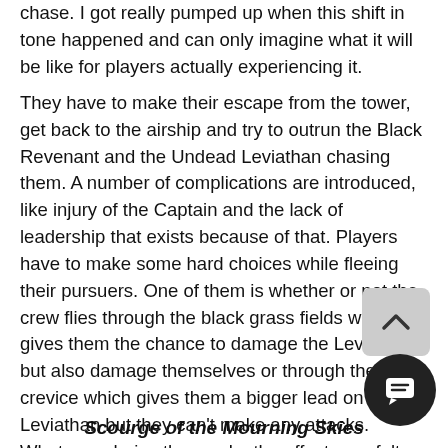chase. I got really pumped up when this shift in tone happened and can only imagine what it will be like for players actually experiencing it.
They have to make their escape from the tower, get back to the airship and try to outrun the Black Revenant and the Undead Leviathan chasing them. A number of complications are introduced, like injury of the Captain and the lack of leadership that exists because of that. Players have to make some hard choices while fleeing their pursuers. One of them is whether or not the crew flies through the black grass fields which gives them the chance to damage the Leviathan but also damage themselves or through the deep crevice which gives them a bigger lead on the Leviathan but they can't make any attacks.  Whatever choice they make the effects are felt later in the adventure.
Scourge of the Mourning Skies